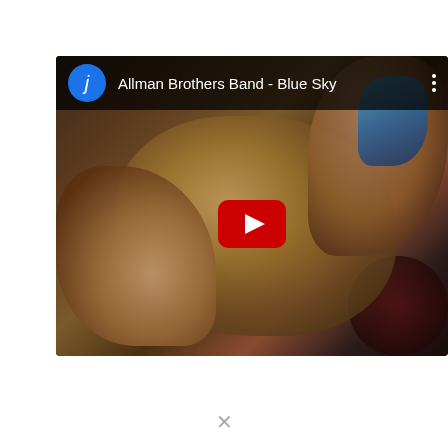[Figure (screenshot): YouTube video thumbnail showing Allman Brothers Band - Blue Sky. The thumbnail shows hands playing a guitar with a reddish-brown concert stage background. A YouTube play button is centered on the image. The top bar shows a blue 'j' avatar icon and the video title 'Allman Brothers Band - Blue Sky' in white text on a dark background, with a vertical three-dot menu icon on the right.]